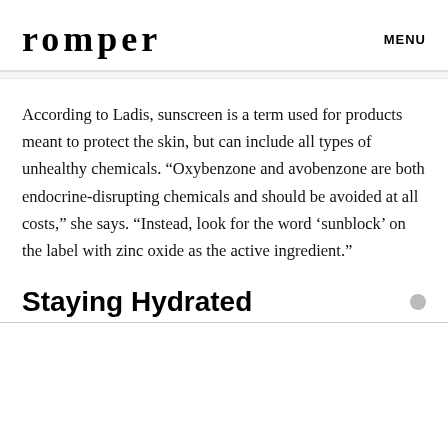romper   MENU
According to Ladis, sunscreen is a term used for products meant to protect the skin, but can include all types of unhealthy chemicals. “Oxybenzone and avobenzone are both endocrine-disrupting chemicals and should be avoided at all costs,” she says. “Instead, look for the word ‘sunblock’ on the label with zinc oxide as the active ingredient.”
Staying Hydrated